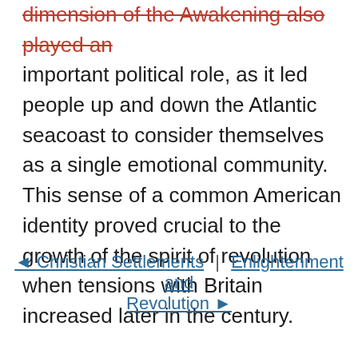dimension of the Awakening also played an important political role, as it led people up and down the Atlantic seacoast to consider themselves as a single emotional community. This sense of a common American identity proved crucial to the growth of the spirit of revolution when tensions with Britain increased later in the century.
◄ Christian Settlements | Enlightenment and Revolution ►